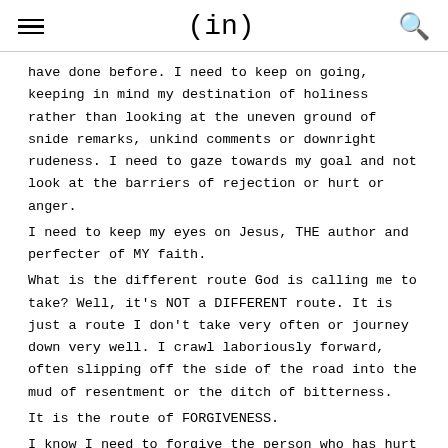(in)
have done before. I need to keep on going, keeping in mind my destination of holiness rather than looking at the uneven ground of snide remarks, unkind comments or downright rudeness. I need to gaze towards my goal and not look at the barriers of rejection or hurt or anger.
I need to keep my eyes on Jesus, THE author and perfecter of MY faith.
What is the different route God is calling me to take? Well, it's NOT a DIFFERENT route. It is just a route I don't take very often or journey down very well. I crawl laboriously forward, often slipping off the side of the road into the mud of resentment or the ditch of bitterness.
It is the route of FORGIVENESS.
I know I need to forgive the person who has hurt me who is ALWAYS right, never wrong. The person who wounded me out of